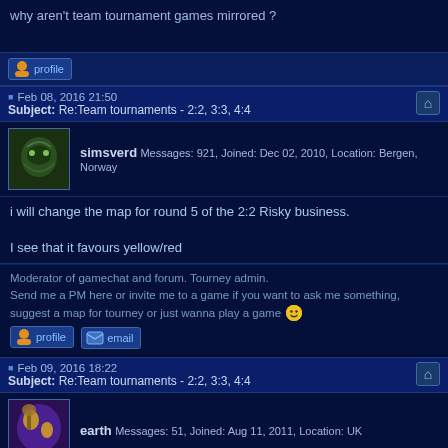why aren't team tournament games mirrored ?
profile
Feb 08, 2016 21:50
Subject: Re:Team tournaments - 2:2, 3:3, 4:4
simsverd Messages: 921, Joined: Dec 02, 2010, Location: Bergen, Norway
i will change the map for round 5 of the 2:2 Risky business.

I see that it favours yellow/red
Moderator of gamechat and forum. Tourney admin.
Send me a PM here or invite me to a game if you want to ask me something, suggest a map for tourney or just wanna play a game 🙂
profile  email
Feb 09, 2016 18:22
Subject: Re:Team tournaments - 2:2, 3:3, 4:4
earth Messages: 51, Joined: Aug 11, 2011, Location: UK
xavi wrote:After discussing the pro/con, we have decided to not implement these changes.